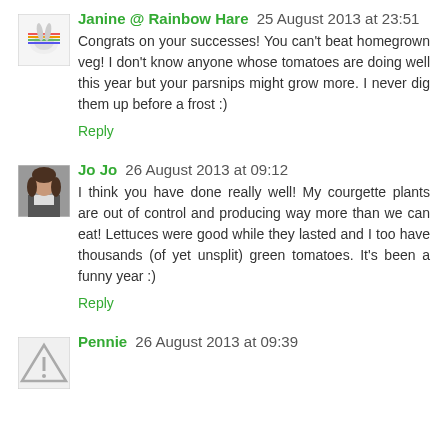[Figure (photo): Avatar image for Janine @ Rainbow Hare - colorful logo/illustration]
Janine @ Rainbow Hare 25 August 2013 at 23:51
Congrats on your successes! You can't beat homegrown veg! I don't know anyone whose tomatoes are doing well this year but your parsnips might grow more. I never dig them up before a frost :)
Reply
[Figure (photo): Avatar photo of Jo Jo - woman in jacket]
Jo Jo 26 August 2013 at 09:12
I think you have done really well! My courgette plants are out of control and producing way more than we can eat! Lettuces were good while they lasted and I too have thousands (of yet unsplit) green tomatoes. It's been a funny year :)
Reply
[Figure (illustration): Generic avatar placeholder - warning triangle icon]
Pennie 26 August 2013 at 09:39